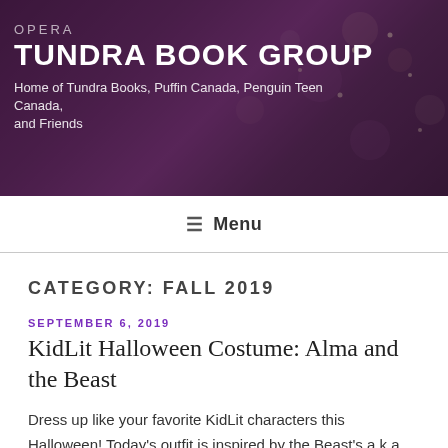TUNDRA BOOK GROUP
Home of Tundra Books, Puffin Canada, Penguin Teen Canada, and Friends
Menu
CATEGORY: FALL 2019
SEPTEMBER 6, 2019
KidLit Halloween Costume: Alma and the Beast
Dress up like your favorite KidLit characters this Halloween! Today's outfit is inspired by the Beast's a.k.a. Mala from Alma and the Beast. We've done the work and searched for all the pieces for you!